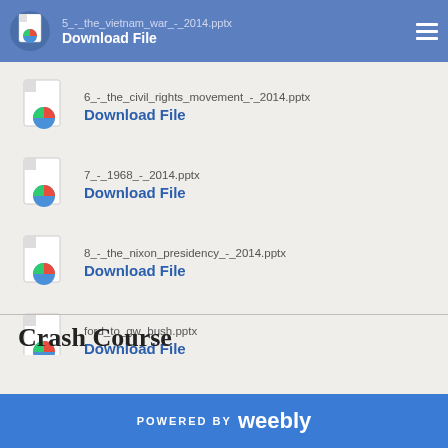5_-_the_vietnam_war_-_2014.pptx
Download File
6_-_the_civil_rights_movement_-_2014.pptx
Download File
7_-_1968_-_2014.pptx
Download File
8_-_the_nixon_presidency_-_2014.pptx
Download File
ford_to_gw_bush.pptx
Download File
Crash Course
POWERED BY weebly